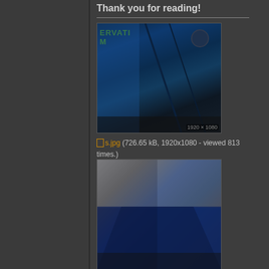Thank you for reading!
[Figure (photo): Dark blue corridor/hallway interior render with green text on wall reading OBSERVATION ROOM and a circular ceiling fixture, viewed at angle]
s.jpg (726.65 kB, 1920x1080 - viewed 813 times.)
[Figure (photo): Dark blue room interior render showing walls and ceiling with lighting]
g.jpg (463.51 kB, 1920x1080 - viewed 745 times.)
« Last Edit: October 20, 2019, 01:00:12 pm by Obsolete Wolf »
Logged